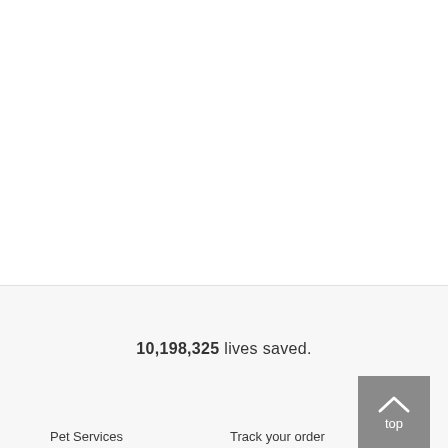10,198,325 lives saved.
top
Pet Services
Track your order